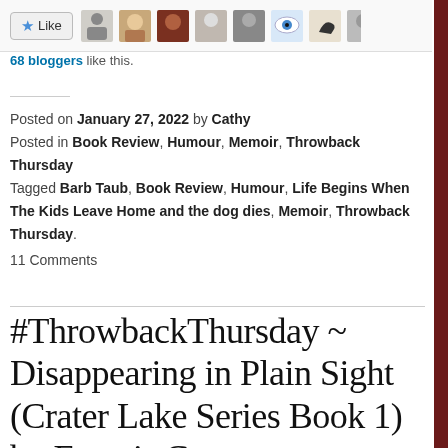[Figure (screenshot): Like button with star icon and a row of small commenter avatar photos]
68 bloggers like this.
Posted on January 27, 2022 by Cathy
Posted in Book Review, Humour, Memoir, Throwback Thursday
Tagged Barb Taub, Book Review, Humour, Life Begins When The Kids Leave Home and the dog dies, Memoir, Throwback Thursday.
11 Comments
#ThrowbackThursday ~ Disappearing in Plain Sight (Crater Lake Series Book 1) by Francis Guenette #Literary